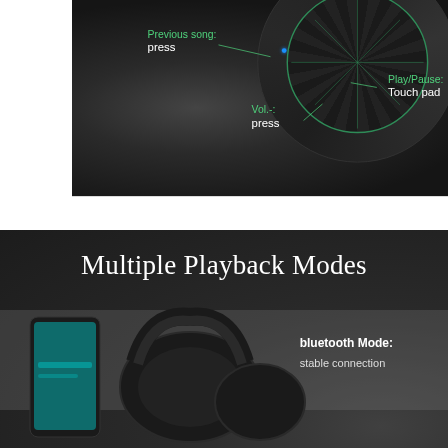[Figure (photo): Close-up photo of black headphone ear cup with green labeled annotations: 'Previous song: press', 'Vol.-: press', 'Play/Pause: Touch pad'. Three dots on right side.]
[Figure (photo): Product lifestyle photo of black over-ear headphones next to a smartphone, on dark background. Text overlay: 'Multiple Playback Modes' and 'bluetooth Mode: stable connection'.]